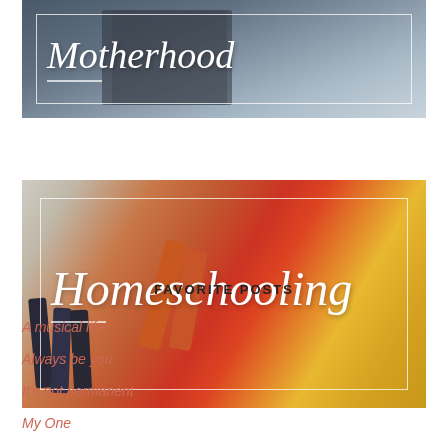[Figure (photo): Top banner image showing people outdoors near water with script text 'Motherhood' overlaid in white italic font inside a white border box]
[Figure (photo): Second banner image showing colorful crayons/markers scattered on white surface with script text 'Homeschooling' overlaid in white italic font inside a white border box]
FAVORITE POSTS
A musical life
Always be you
It's not permanent
My One